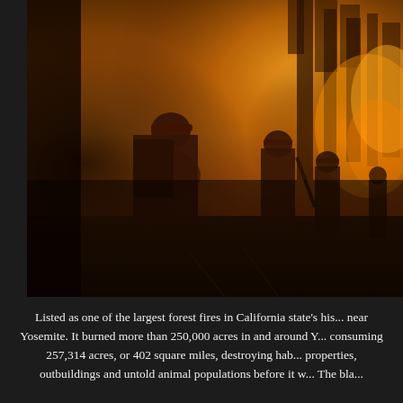[Figure (photo): Firefighters in orange protective gear and helmets walking along a road surrounded by forest fire with intense orange and amber glow from flames and smoke, silhouettes visible against the bright fire light, trees visible in the smoky background near Yosemite.]
Listed as one of the largest forest fires in California state's history, was the Rim Fire near Yosemite. It burned more than 250,000 acres in and around Yosemite National Park, consuming 257,314 acres, or 402 square miles, destroying habitats, homes, commercial properties, outbuildings and untold animal populations before it was fully contained. The blaze was reported by a hunter, and will cost millions of dollars for firefighters...